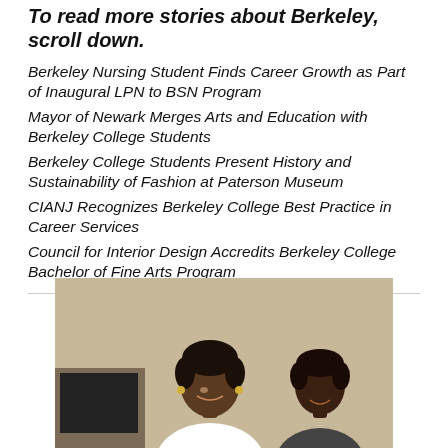To read more stories about Berkeley, scroll down.
Berkeley Nursing Student Finds Career Growth as Part of Inaugural LPN to BSN Program
Mayor of Newark Merges Arts and Education with Berkeley College Students
Berkeley College Students Present History and Sustainability of Fashion at Paterson Museum
CIANJ Recognizes Berkeley College Best Practice in Career Services
Council for Interior Design Accredits Berkeley College Bachelor of Fine Arts Program
[Figure (photo): Two women seated, smiling, in an office or classroom setting]